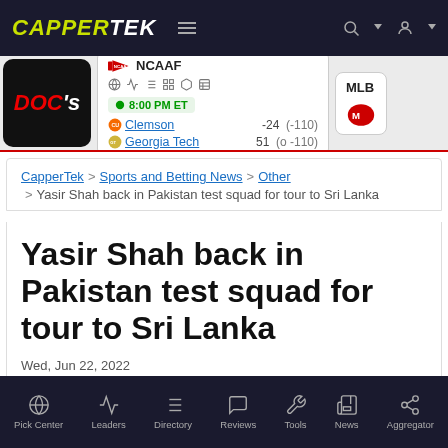CAPPERTEK
[Figure (screenshot): CapperTek website screenshot showing sports betting scores band with NCAAF game: Clemson -24 (-110) vs Georgia Tech 51 (o-110) at 8:00 PM ET]
CapperTek > Sports and Betting News > Other > Yasir Shah back in Pakistan test squad for tour to Sri Lanka
Yasir Shah back in Pakistan test squad for tour to Sri Lanka
Wed, Jun 22, 2022
Pick Center | Leaders | Directory | Reviews | Tools | News | Aggregator